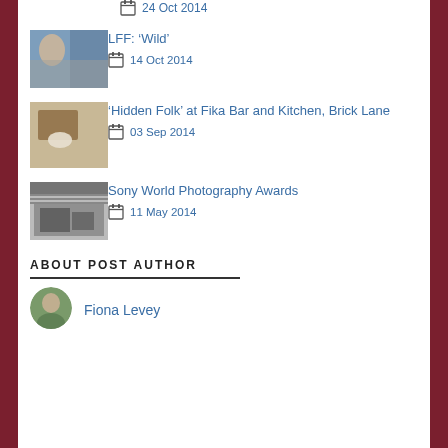24 Oct 2014
[Figure (photo): Thumbnail photo for LFF Wild article]
LFF: ‘Wild’ — 14 Oct 2014
[Figure (photo): Thumbnail photo for Hidden Folk at Fika Bar and Kitchen article]
‘Hidden Folk’ at Fika Bar and Kitchen, Brick Lane — 03 Sep 2014
[Figure (photo): Thumbnail black and white photo for Sony World Photography Awards article]
Sony World Photography Awards — 11 May 2014
ABOUT POST AUTHOR
[Figure (photo): Author avatar of Fiona Levey]
Fiona Levey